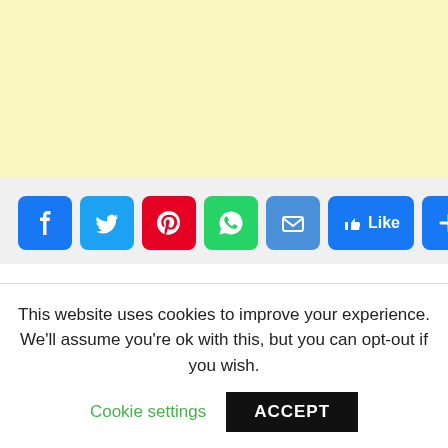[Figure (other): Yellow/cream colored advertisement banner area]
[Figure (other): Social media share buttons row: Facebook (blue), Twitter (light blue), Pinterest (red), WhatsApp (green), Email (blue), Like button (blue with thumbs up), and Add/More button (blue with plus sign)]
BY JOAN WANJIKU,NAIROBI,26TH NOV,2021-Nairobi Governor Anne Kananu has obtained orders barring her predecessor Mike
This website uses cookies to improve your experience. We'll assume you're ok with this, but you can opt-out if you wish.
Cookie settings
ACCEPT